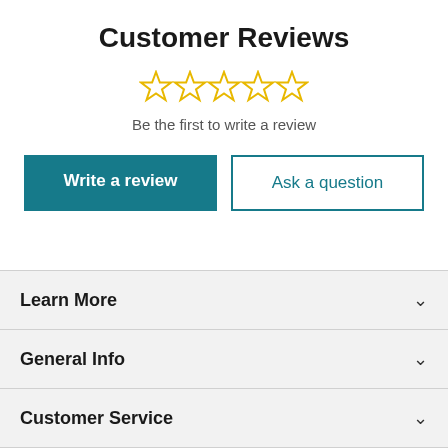Customer Reviews
[Figure (other): Five empty star rating icons in gold/yellow outline]
Be the first to write a review
Write a review
Ask a question
Learn More
General Info
Customer Service